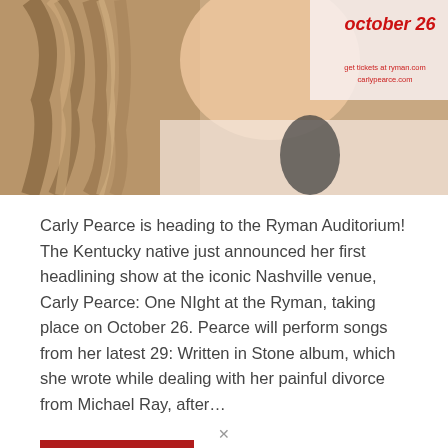[Figure (photo): A concert promotional poster showing Carly Pearce with text 'october 26' in red and 'get tickets at ryman.com carlypearce.com' visible in the upper right area. The image shows a woman with long blonde hair.]
Carly Pearce is heading to the Ryman Auditorium! The Kentucky native just announced her first headlining show at the iconic Nashville venue, Carly Pearce: One NIght at the Ryman, taking place on October 26. Pearce will perform songs from her latest 29: Written in Stone album, which she wrote while dealing with her painful divorce from Michael Ray, after…
Read More